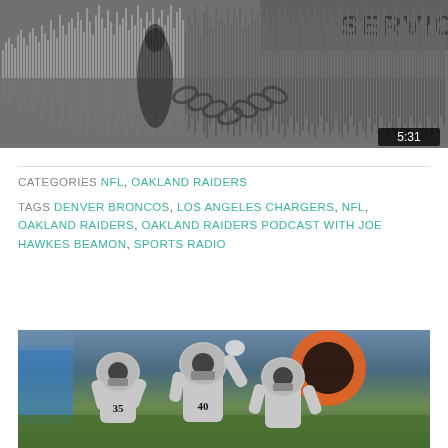[Figure (screenshot): SoundCloud-style audio player with waveform visualization showing a podcast episode. Dark gray background with vertical bar waveform. Timer shows 5:31. Privacy policy label visible at bottom left.]
CATEGORIES  NFL, OAKLAND RAIDERS
TAGS  DENVER BRONCOS, LOS ANGELES CHARGERS, NFL, OAKLAND RAIDERS, OAKLAND RAIDERS PODCAST WITH JOE HAWKES BEAMON, SPORTS RADIO
[Figure (photo): Oakland Raiders players in silver and black uniforms celebrating on the football field. Players wearing Raiders helmets with numbers 35 and 40 visible. Orange target marker visible on right side. Chargers fans visible in background.]